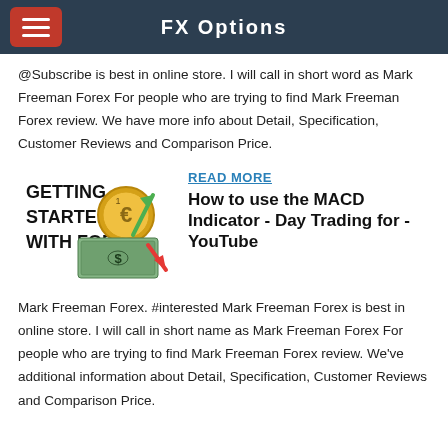FX Options
@Subscribe is best in online store. I will call in short word as Mark Freeman Forex For people who are trying to find Mark Freeman Forex review. We have more info about Detail, Specification, Customer Reviews and Comparison Price.
[Figure (illustration): Getting Started With Forex — graphic with euro coin, dollar bill, green upward arrow and red downward arrow]
READ MORE
How to use the MACD Indicator - Day Trading for - YouTube
Mark Freeman Forex. #interested Mark Freeman Forex is best in online store. I will call in short name as Mark Freeman Forex For people who are trying to find Mark Freeman Forex review. We've additional information about Detail, Specification, Customer Reviews and Comparison Price.